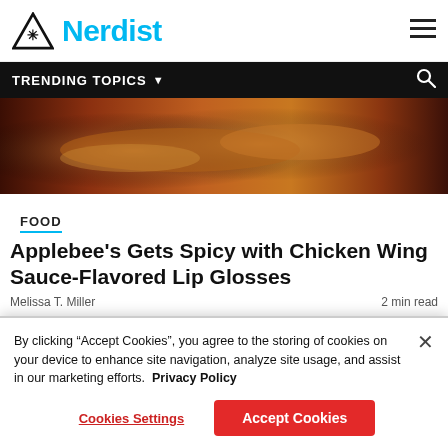Nerdist
TRENDING TOPICS
[Figure (photo): Close-up photo of glazed/sauced chicken wings or similar food items with warm amber and red tones]
FOOD
Applebee's Gets Spicy with Chicken Wing Sauce-Flavored Lip Glosses
Melissa T. Miller    2 min read
By clicking "Accept Cookies", you agree to the storing of cookies on your device to enhance site navigation, analyze site usage, and assist in our marketing efforts.  Privacy Policy
Cookies Settings    Accept Cookies